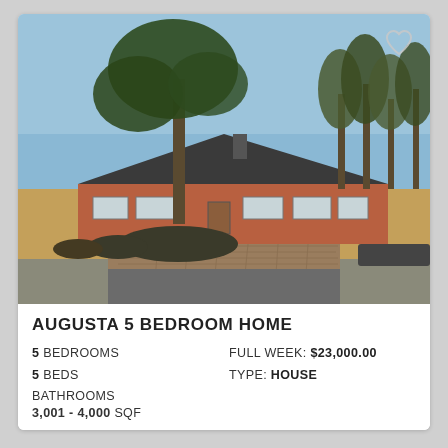[Figure (photo): Exterior photo of a single-story brick ranch house with large yard, tall trees, and brick driveway. Blue sky visible. Augusta Georgia area.]
AUGUSTA 5 BEDROOM HOME
5 BEDROOMS
FULL WEEK: $23,000.00
5 BEDS
TYPE: HOUSE
BATHROOMS
3,001 - 4,000 SQF